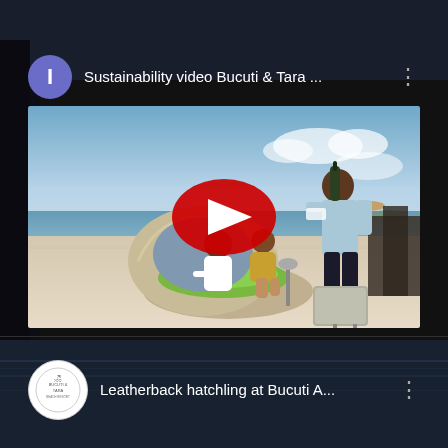Sustainability video Bucuti & Tara ...
[Figure (screenshot): YouTube video thumbnail showing a beach scene with a couple sitting in a round lounge chair and a waiter pouring champagne, with a red YouTube play button overlay]
Leatherback hatchling at Bucuti A...